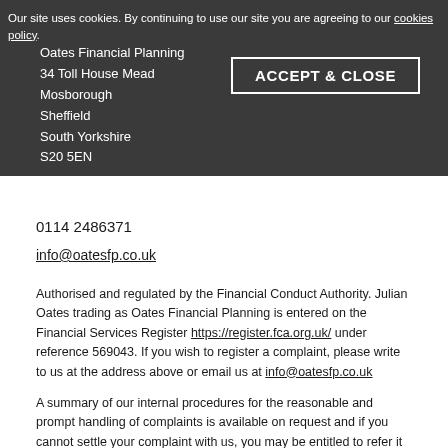Oates Financial Planning
34 Toll House Mead
Mosborough
Sheffield
South Yorkshire
S20 5EN
Our site uses cookies. By continuing to use our site you are agreeing to our cookies policy.
ACCEPT & CLOSE
0114 2486371
info@oatesfp.co.uk
Authorised and regulated by the Financial Conduct Authority. Julian Oates trading as Oates Financial Planning is entered on the Financial Services Register https://register.fca.org.uk/ under reference 569043. If you wish to register a complaint, please write to us at the address above or email us at info@oatesfp.co.uk
A summary of our internal procedures for the reasonable and prompt handling of complaints is available on request and if you cannot settle your complaint with us, you may be entitled to refer it to the Financial